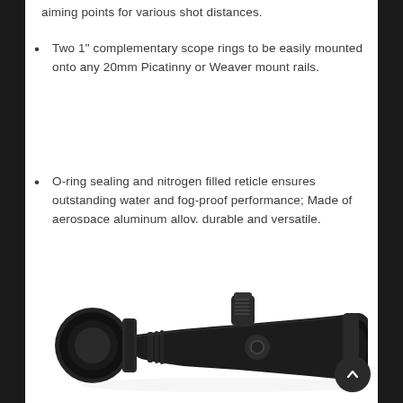aiming points for various shot distances.
Two 1" complementary scope rings to be easily mounted onto any 20mm Picatinny or Weaver mount rails.
O-ring sealing and nitrogen filled reticle ensures outstanding water and fog-proof performance; Made of aerospace aluminum alloy, durable and versatile.
[Figure (photo): A black rifle scope (riflescope) shown in profile view, matte black finish, with turret adjustments visible on top, and large objective lens on the right end.]